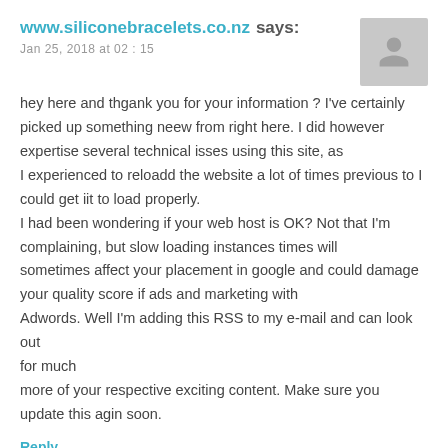www.siliconebracelets.co.nz says:
Jan 25, 2018 at 02 : 15
hey here and thgank you for your information ? I've certainly picked up something neew from right here. I did however expertise several technical isses using this site, as I experienced to reloadd the website a lot of times previous to I could get iit to load properly. I had been wondering if your web host is OK? Not that I'm complaining, but slow loading instances times will sometimes affect your placement in google and could damage your quality score if ads and marketing with Adwords. Well I'm adding this RSS to my e-mail and can look out for much more of your respective exciting content. Make sure you update this agin soon.
Reply
Custom bracelets in NZ says: